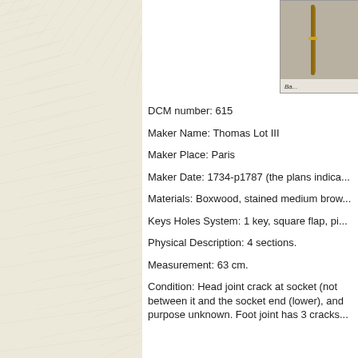[Figure (photo): Photograph of a baroque flute instrument and related diagram/plans, partially visible at top right of page. Caption reads 'Ba...' (truncated).]
Ba...
DCM number: 615
Maker Name: Thomas Lot III
Maker Place: Paris
Maker Date: 1734-p1787 (the plans indica...
Materials: Boxwood, stained medium brow...
Keys Holes System: 1 key, square flap, pi...
Physical Description: 4 sections.
Measurement: 63 cm.
Condition: Head joint crack at socket (not between it and the socket end (lower), and purpose unknown. Foot joint has 3 cracks...